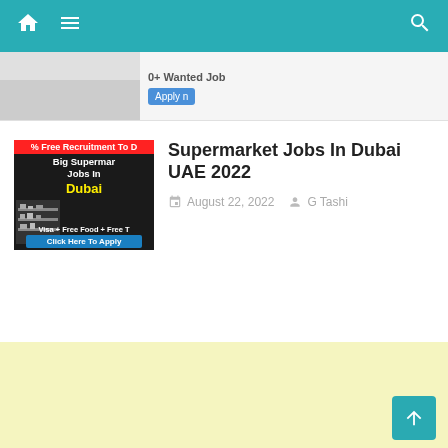Navigation bar with home, menu, and search icons
[Figure (screenshot): Partial thumbnail of a job listing card with text '0+ Wanted Job' and 'Apply n...' button cropped at top]
[Figure (screenshot): Thumbnail image for Supermarket Jobs In Dubai. Black background with red banner '% Free Recruitment To D...', text 'Big Supermar... Jobs In Dubai' in yellow, shelf image on left, text 'Visa + Free Food + Free T', blue button 'Click Here To Apply']
Supermarket Jobs In Dubai UAE 2022
August 22, 2022   G Tashi
[Figure (other): Yellow/cream colored advertisement area]
[Figure (other): Teal back-to-top arrow button in bottom right corner]